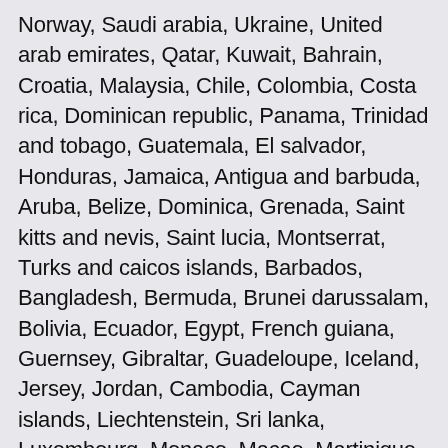Norway, Saudi arabia, Ukraine, United arab emirates, Qatar, Kuwait, Bahrain, Croatia, Malaysia, Chile, Colombia, Costa rica, Dominican republic, Panama, Trinidad and tobago, Guatemala, El salvador, Honduras, Jamaica, Antigua and barbuda, Aruba, Belize, Dominica, Grenada, Saint kitts and nevis, Saint lucia, Montserrat, Turks and caicos islands, Barbados, Bangladesh, Bermuda, Brunei darussalam, Bolivia, Ecuador, Egypt, French guiana, Guernsey, Gibraltar, Guadeloupe, Iceland, Jersey, Jordan, Cambodia, Cayman islands, Liechtenstein, Sri lanka, Luxembourg, Monaco, Macao, Martinique, Maldives, Nicaragua, Oman, Peru, Pakistan, Paraguay, Reunion, Viet nam, Uruguay.
Outside Diameter (OD): 1/2 in